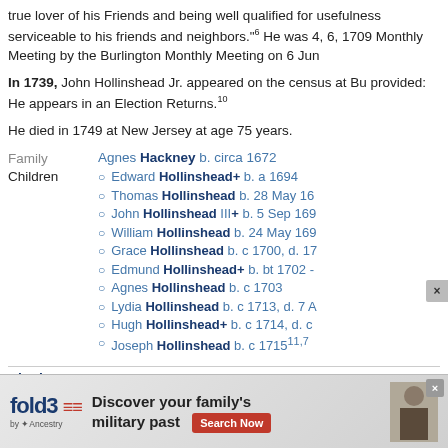true lover of his Friends and being well qualified for usefulness serviceable to his friends and neighbors."6 He was 4, 6, 1709 Monthly Meeting by the Burlington Monthly Meeting on 6 Jun
In 1739, John Hollinshead Jr. appeared on the census at Bu provided: He appears in an Election Returns.10
He died in 1749 at New Jersey at age 75 years.
Family  Agnes Hackney b. circa 1672
Edward Hollinshead+ b. a 1694
Thomas Hollinshead b. 28 May 16
John Hollinshead III+ b. 5 Sep 169
William Hollinshead b. 24 May 169
Grace Hollinshead b. c 1700, d. 17
Edmund Hollinshead+ b. bt 1702 -
Agnes Hollinshead b. c 1703
Lydia Hollinshead b. c 1713, d. 7 A
Hugh Hollinshead+ b. c 1714, d. c
Joseph Hollinshead b. c 171511,7
Citations
1. [S
2. [S